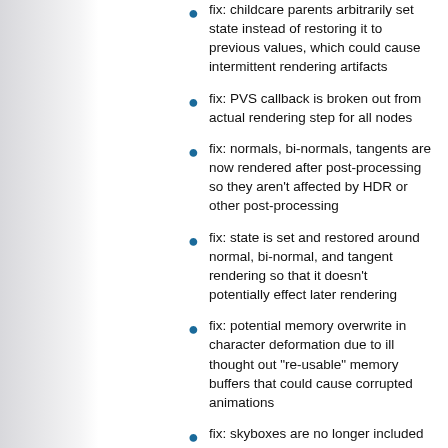fix: childcare parents arbitrarily set state instead of restoring it to previous values, which could cause intermittent rendering artifacts
fix: PVS callback is broken out from actual rendering step for all nodes
fix: normals, bi-normals, tangents are now rendered after post-processing so they aren't affected by HDR or other post-processing
fix: state is set and restored around normal, bi-normal, and tangent rendering so that it doesn't potentially effect later rendering
fix: potential memory overwrite in character deformation due to ill thought out "re-usable" memory buffers that could cause corrupted animations
fix: skyboxes are no longer included in directional shadow rendering
fix: checks for duplicate creation of the same texture had been removed at some point
fix: client textures that are created during